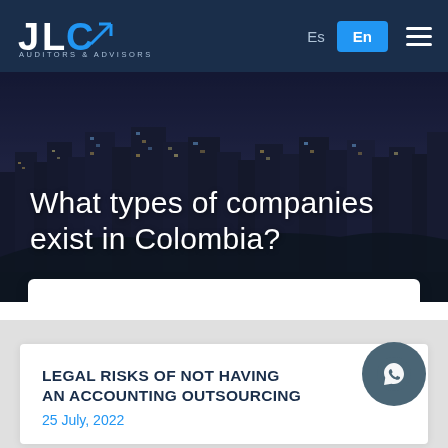[Figure (logo): JLC Auditors & Advisors logo with blue C and arrow icon on dark navy background]
Es | En
[Figure (photo): City skyline at dusk/night with illuminated buildings and dark blue sky]
What types of companies exist in Colombia?
Latest Articles
LEGAL RISKS OF NOT HAVING AN ACCOUNTING OUTSOURCING
25 July, 2022